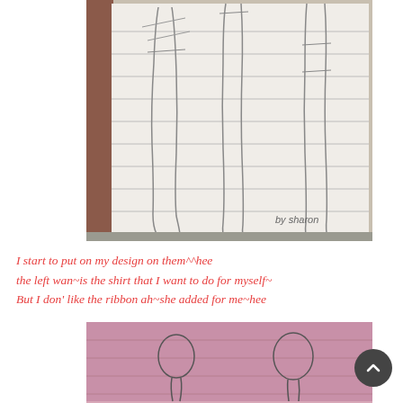[Figure (photo): Photo of fashion design sketches of human legs/lower body on lined paper, with handwritten text 'by sharon' in lower right corner. The sketches show outlines of legs and skirts drawn with pencil on white lined paper.]
I start to put on my design on them^^hee
the left wan~is the shirt that I want to do for myself~
But I don' like the ribbon ah~she added for me~hee
[Figure (photo): Photo of fashion design sketches on pink fabric/paper, showing outlines of garment designs with circular neckline shapes drawn in pencil.]